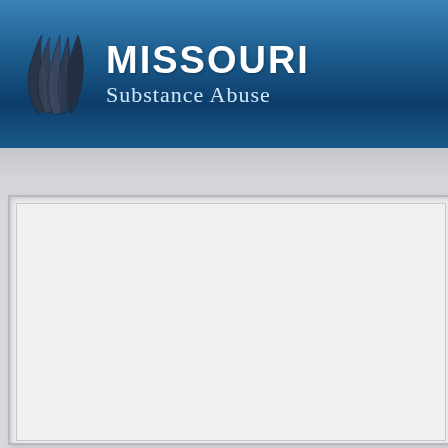[Figure (logo): Missouri Substance Abuse website header banner with a stylized dark leaf/shield logo icon on the left and the text 'MISSOURI' in bold white and 'Substance Abuse' in lighter blue-white below it, on a dark blue gradient background.]